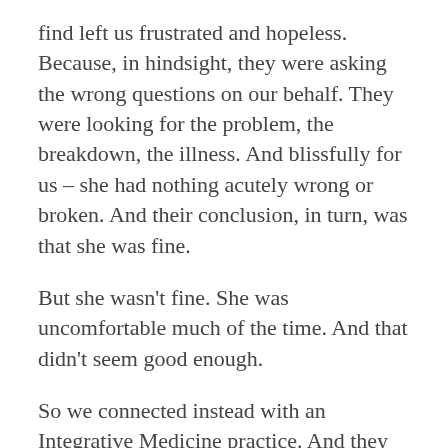find left us frustrated and hopeless. Because, in hindsight, they were asking the wrong questions on our behalf. They were looking for the problem, the breakdown, the illness. And blissfully for us – she had nothing acutely wrong or broken. And their conclusion, in turn, was that she was fine.
But she wasn't fine. She was uncomfortable much of the time. And that didn't seem good enough.
So we connected instead with an Integrative Medicine practice. And they took a different approach. Rather than asking what was wrong or broken, their question was: Is she as well, as optimal, as she can be? And the answer